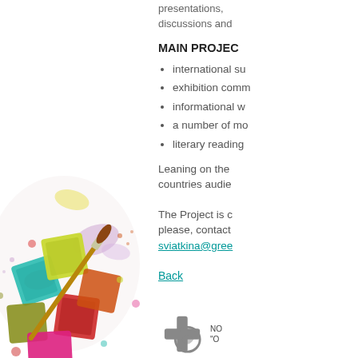presentations, discussions and
MAIN PROJEC
international su
exhibition comm
informational w
a number of mo
literary reading
Leaning on the countries audie
The Project is c please, contact sviatkina@gree
Back
[Figure (photo): Colorful watercolor paint pans with brushes and paint splatters]
[Figure (logo): Organization logo with cross and circular element, with text starting with N and quotation mark]